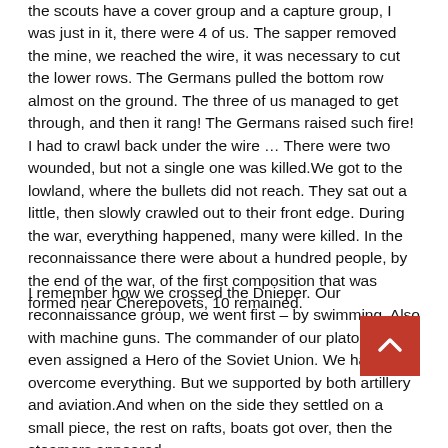the scouts have a cover group and a capture group, I was just in it, there were 4 of us. The sapper removed the mine, we reached the wire, it was necessary to cut the lower rows. The Germans pulled the bottom row almost on the ground. The three of us managed to get through, and then it rang! The Germans raised such fire! I had to crawl back under the wire … There were two wounded, but not a single one was killed.We got to the lowland, where the bullets did not reach. They sat out a little, then slowly crawled out to their front edge. During the war, everything happened, many were killed. In the reconnaissance there were about a hundred people, by the end of the war, of the first composition that was formed near Cherepovets, 10 remained.
I remember how we crossed the Dnieper. Our reconnaissance group, we went first – by swimming. Also with machine guns. The commander of our platoon was even assigned a Hero of the Soviet Union. We have overcome everything. But we supported by both artillery and aviation.And when on the side they settled on a small piece, the rest on rafts, boats got over, then the steamers appeared.